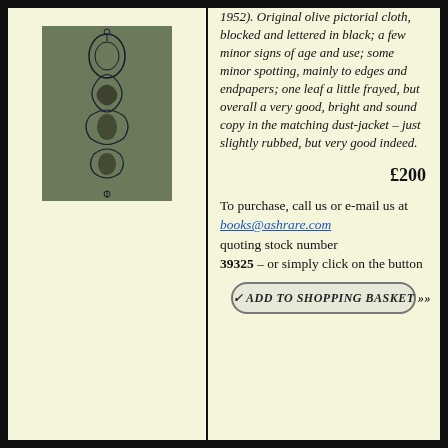[Figure (photo): Book cover image showing a decorative spine with floral/ornamental design in dark ink on an olive green background]
1952). Original olive pictorial cloth, blocked and lettered in black; a few minor signs of age and use; some minor spotting, mainly to edges and endpapers; one leaf a little frayed, but overall a very good, bright and sound copy in the matching dust-jacket – just slightly rubbed, but very good indeed.
£200
To purchase, call us or e-mail us at books@ashrare.com quoting stock number 39325 – or simply click on the button
ADD TO SHOPPING BASKET